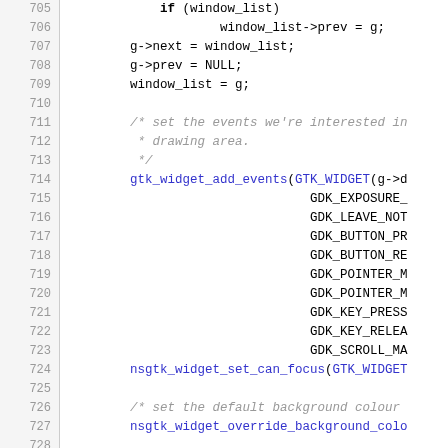[Figure (screenshot): Source code listing showing lines 705-734 of a C program, featuring GTK widget event setup, background colour setting, draw event connection, and a CONNECT macro definition. Line numbers on the left, code on the right with keywords in bold and function calls in blue.]